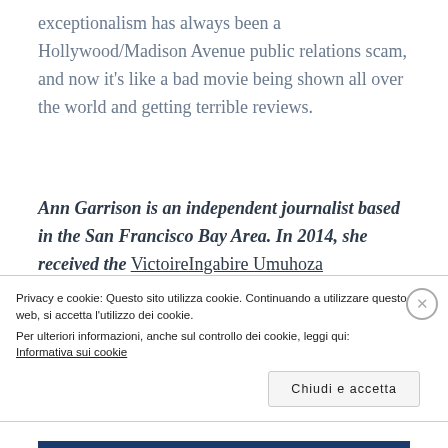exceptionalism has always been a Hollywood/Madison Avenue public relations scam, and now it's like a bad movie being shown all over the world and getting terrible reviews.
Ann Garrison is an independent journalist based in the San Francisco Bay Area. In 2014, she received the VictoireIngabire Umuhoza Democracy and Peace Prize for her reporting on conflict in the African Great Lakes reaion. She
Privacy e cookie: Questo sito utilizza cookie. Continuando a utilizzare questo sito web, si accetta l'utilizzo dei cookie.
Per ulteriori informazioni, anche sul controllo dei cookie, leggi qui:
Informativa sui cookie
Chiudi e accetta